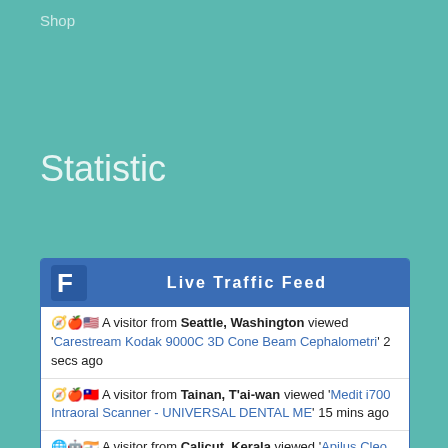Shop
Statistic
[Figure (screenshot): Live Traffic Feed widget showing 5 visitor entries from various locations viewing dental medical equipment pages]
🧭🍎🇺🇸 A visitor from Seattle, Washington viewed 'Carestream Kodak 9000C 3D Cone Beam Cephalometri' 2 secs ago
🧭🍎🇹🇼 A visitor from Tainan, T'ai-wan viewed 'Medit i700 Intraoral Scanner - UNIVERSAL DENTAL ME' 15 mins ago
🌐🤖🇮🇳 A visitor from Calicut, Kerala viewed 'Apilus Cleo Blend Electrolysis Machines - UNIVERSA' 41 mins ago
🧭🍎🇱🇰 A visitor from Central province viewed 'Huvitz HRK-8000A Auto Refractor Keratometer - UNIV' 1 hr 28 mins ago
🌐🪟🇺🇦 A visitor from Kiev, Kyiv viewed 'My account - UNIVERSAL DENTAL MEDICAL SUPPLY' 1 hr 29 mins ago